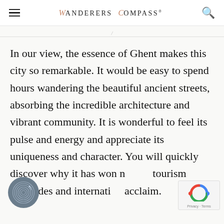WANDERERS COMPASS®
In our view, the essence of Ghent makes this city so remarkable. It would be easy to spend hours wandering the beautiful ancient streets, absorbing the incredible architecture and vibrant community. It is wonderful to feel its pulse and energy and appreciate its uniqueness and character. You will quickly discover why it has won numerous tourism accolades and international acclaim.